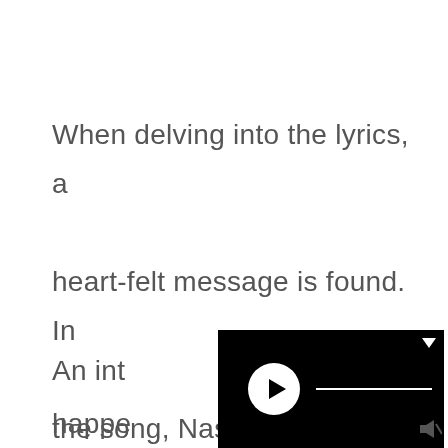When delving into the lyrics, a heart-felt message is found. In the song, Nas has a conversation with his younger self.
An int
[Figure (screenshot): A video player widget with black background, circular play button on the left, a white horizontal progress bar in the center, and an expand arrow icon in the top right corner.]
happe